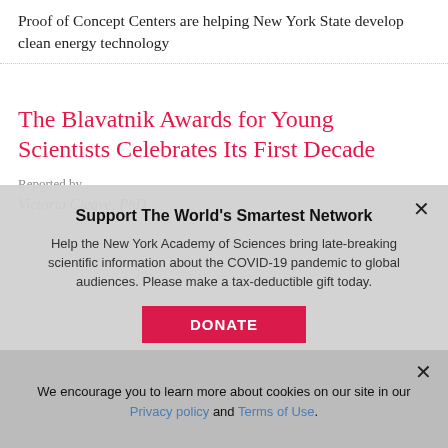Proof of Concept Centers are helping New York State develop clean energy technology
The Blavatnik Awards for Young Scientists Celebrates Its First Decade
Reported by
Victoria Cleave, PhD
Support The World's Smartest Network
Help the New York Academy of Sciences bring late-breaking scientific information about the COVID-19 pandemic to global audiences. Please make a tax-deductible gift today.
DONATE
We encourage you to learn more about cookies on our site in our Privacy policy and Terms of Use.